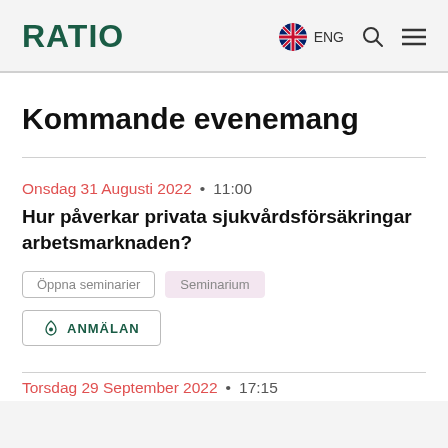RATIO | ENG
Kommande evenemang
Onsdag 31 Augusti 2022 • 11:00
Hur påverkar privata sjukvårdsförsäkringar arbetsmarknaden?
Öppna seminarier
Seminarium
ANMÄLAN
Torsdag 29 September 2022 • 17:15